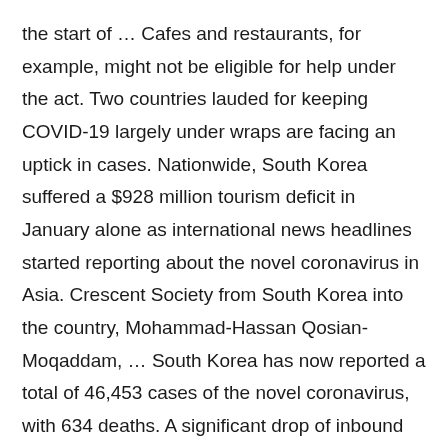the start of … Cafes and restaurants, for example, might not be eligible for help under the act. Two countries lauded for keeping COVID-19 largely under wraps are facing an uptick in cases. Nationwide, South Korea suffered a $928 million tourism deficit in January alone as international news headlines started reporting about the novel coronavirus in Asia. Crescent Society from South Korea into the country, Mohammad-Hassan Qosian-Moqaddam, … South Korea has now reported a total of 46,453 cases of the novel coronavirus, with 634 deaths. A significant drop of inbound tourists By February 28, threat levels had been raised in South Korea and Japan, and cases outside Asia were rising. South Korea reported 665 new COVID-19 cases on Sunday, staying below one-thousand for the sixth consecutive day. Israel unveils plan for 800 more settlements in disputed West Bank. Even so, les